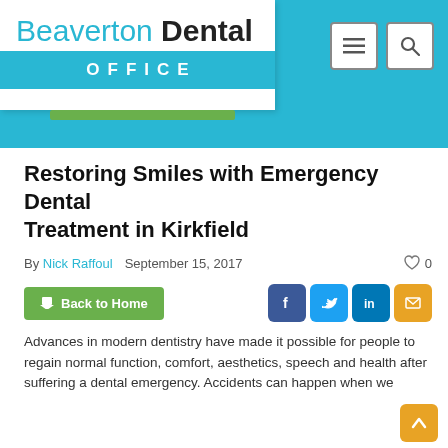[Figure (logo): Beaverton Dental Office logo with cyan/white header and navigation icons]
Restoring Smiles with Emergency Dental Treatment in Kirkfield
By Nick Raffoul   September 15, 2017   0
Back to Home [social icons: Facebook, Twitter, LinkedIn, Email]
Advances in modern dentistry have made it possible for people to regain normal function, comfort, aesthetics, speech and health after suffering a dental emergency. Accidents can happen when we